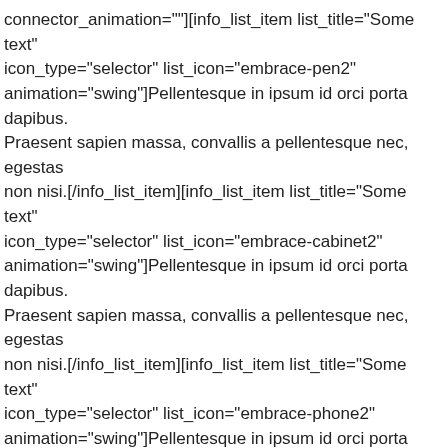connector_animation=""][info_list_item list_title="Some text" icon_type="selector" list_icon="embrace-pen2" animation="swing"]Pellentesque in ipsum id orci porta dapibus. Praesent sapien massa, convallis a pellentesque nec, egestas non nisi.[/info_list_item][info_list_item list_title="Some text" icon_type="selector" list_icon="embrace-cabinet2" animation="swing"]Pellentesque in ipsum id orci porta dapibus. Praesent sapien massa, convallis a pellentesque nec, egestas non nisi.[/info_list_item][info_list_item list_title="Some text" icon_type="selector" list_icon="embrace-phone2" animation="swing"]Pellentesque in ipsum id orci porta dapibus. Praesent sapien massa, convallis a pellentesque nec, egestas non nisi.[/info_list_item][info_list_item list_title="Some text" icon_type="selector" list_icon="embrace-box2" animation="swing"]Pellentesque in ipsum id orci porta dapibus. Praesent sapien massa, convallis a pellentesque nec, egestas non nisi.[/info_list_item][/info_list]